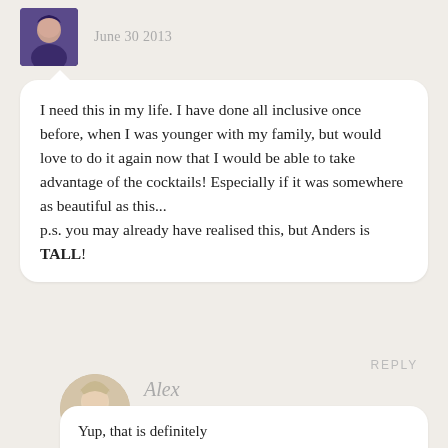June 30 2013
I need this in my life. I have done all inclusive once before, when I was younger with my family, but would love to do it again now that I would be able to take advantage of the cocktails! Especially if it was somewhere as beautiful as this...
p.s. you may already have realised this, but Anders is TALL!
REPLY
Alex
July 1 2013
Yup, that is definitely where the value comes in!